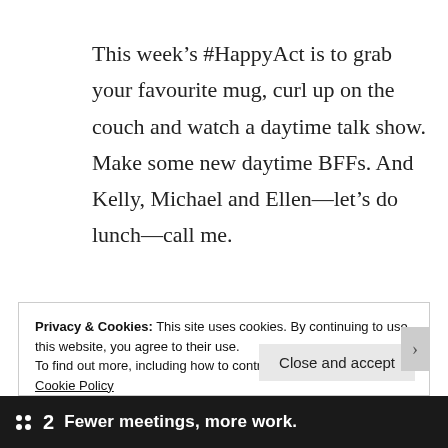This week's #HappyAct is to grab your favourite mug, curl up on the couch and watch a daytime talk show. Make some new daytime BFFs. And Kelly, Michael and Ellen—let's do lunch—call me.
Privacy & Cookies: This site uses cookies. By continuing to use this website, you agree to their use.
To find out more, including how to control cookies, see here: Cookie Policy
Close and accept
Fewer meetings, more work.